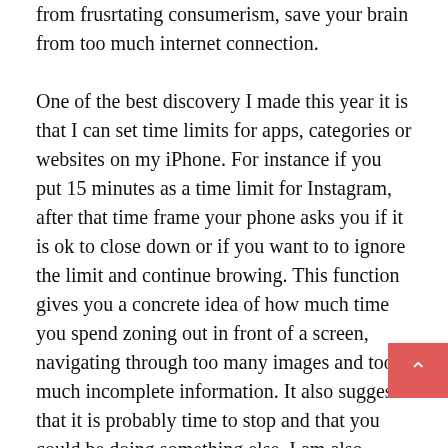from frusrtating consumerism, save your brain from too much internet connection.

One of the best discovery I made this year it is that I can set time limits for apps, categories or websites on my iPhone. For instance if you put 15 minutes as a time limit for Instagram, after that time frame your phone asks you if it is ok to close down or if you want to to ignore the limit and continue browing. This function gives you a concrete idea of how much time you spend zoning out in front of a screen, navigating through too many images and too much incomplete information. It also suggests that it is probably time to stop and that you could be doing something else. I am also making a conscious effort to look at the sky more. I have noticed I walk most of the time looking down or at eye level (when not looking at my phone screen). I look at people, at shops, at the floor, at houses or buildings rarely up. When I do look at the sky, I find it soothing. It is